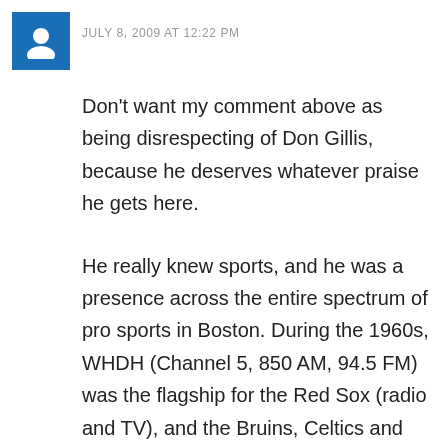JULY 8, 2009 AT 12:22 PM
Don't want my comment above as being disrespecting of Don Gillis, because he deserves whatever praise he gets here.
He really knew sports, and he was a presence across the entire spectrum of pro sports in Boston. During the 1960s, WHDH (Channel 5, 850 AM, 94.5 FM) was the flagship for the Red Sox (radio and TV), and the Bruins, Celtics and Harvard football (on radio only). It's before my time, but Gillis apparently did color or play-by-play for the Sox, Bs and